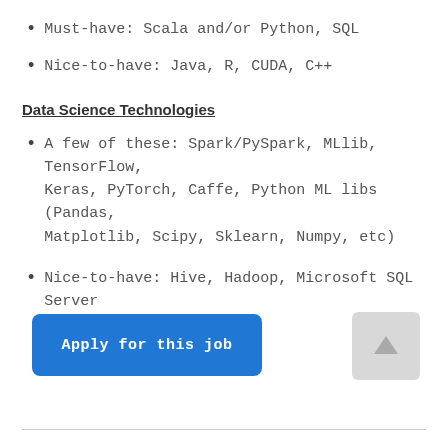Must-have: Scala and/or Python, SQL
Nice-to-have: Java, R, CUDA, C++
Data Science Technologies
A few of these: Spark/PySpark, MLlib, TensorFlow, Keras, PyTorch, Caffe, Python ML libs (Pandas, Matplotlib, Scipy, Sklearn, Numpy, etc)
Nice-to-have: Hive, Hadoop, Microsoft SQL Server
[Figure (other): Apply for this job button (blue rounded rectangle) and a scroll-to-top icon button (grey square with upward arrow)]